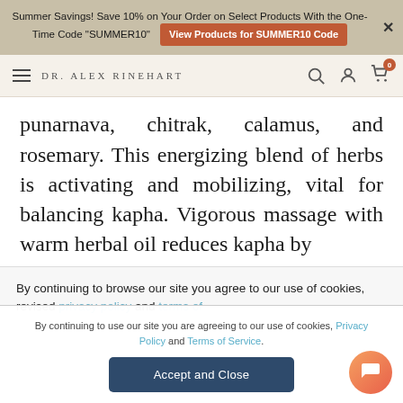Summer Savings! Save 10% on Your Order on Select Products With the One-Time Code "SUMMER10" | View Products for SUMMER10 Code
DR. ALEX RINEHART
punarnava, chitrak, calamus, and rosemary. This energizing blend of herbs is activating and mobilizing, vital for balancing kapha. Vigorous massage with warm herbal oil reduces kapha by
By continuing to browse our site you agree to our use of cookies, revised privacy policy and terms of
By continuing to use our site you are agreeing to our use of cookies, Privacy Policy and Terms of Service.
Accept and Close